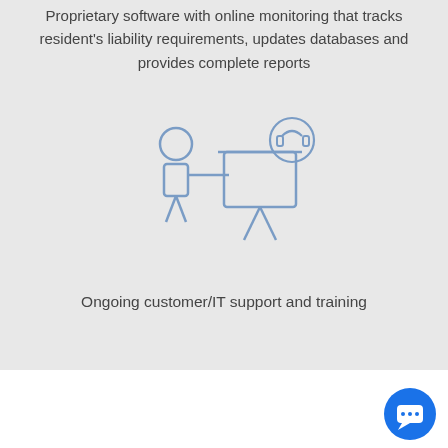Proprietary software with online monitoring that tracks resident's liability requirements, updates databases and provides complete reports
[Figure (illustration): Line illustration of a person presenting to a screen displaying a headset/support icon, representing customer/IT support and training]
Ongoing customer/IT support and training